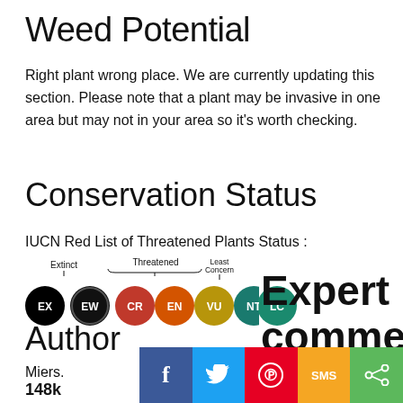Weed Potential
Right plant wrong place. We are currently updating this section. Please note that a plant may be invasive in one area but may not in your area so it's worth checking.
Conservation Status
IUCN Red List of Threatened Plants Status :
[Figure (infographic): IUCN Red List status diagram showing colored circles labeled EX (black), EW (dark), CR (red), EN (orange), VU (dark yellow), NT (teal), LC (green), with Extinct label over EX/EW, Threatened brace over CR/EN/VU, and Least Concern label over NT/LC]
Expert comment
Author
Miers.
148k
Shares